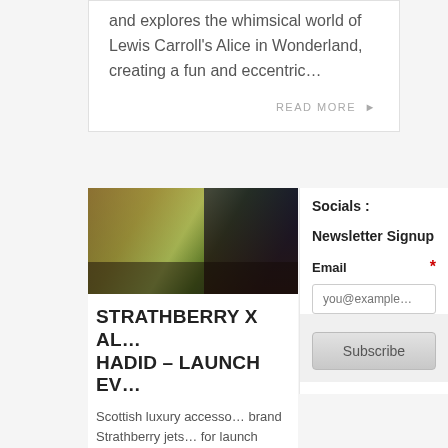and explores the whimsical world of Lewis Carroll's Alice in Wonderland, creating a fun and eccentric…
READ MORE ▶
[Figure (photo): Two women posing together, one wearing a bright yellow-green top with bracelets, at what appears to be a launch event.]
STRATHBERRY X AL… HADID – LAUNCH EV…
Scottish luxury accesso… brand Strathberry jets … for launch party hoste… with Le…
Socials :
Newsletter Signup
Email *
you@example…
Subscribe